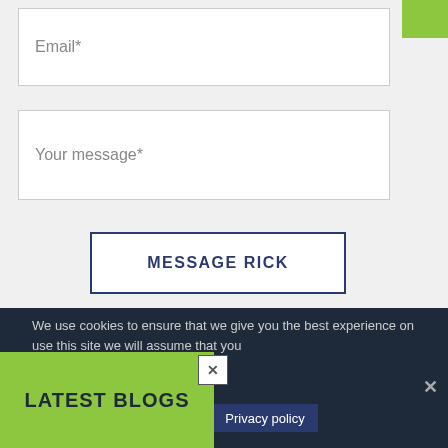[Figure (screenshot): Email input field with placeholder text 'Email*']
[Figure (screenshot): Your message input field with placeholder text 'Your message*']
MESSAGE RICK
We use cookies to ensure that we give you the best experience on use this site we will assume that you ppy with it.
Privacy policy
LATEST BLOGS